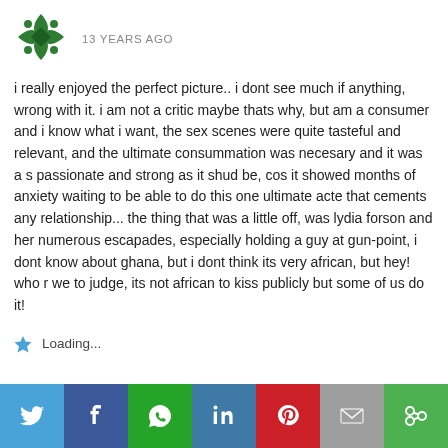[Figure (illustration): Green decorative avatar/profile icon with geometric cross pattern]
13 YEARS AGO
i really enjoyed the perfect picture.. i dont see much if anything, wrong with it. i am not a critic maybe thats why, but am a consumer and i know what i want, the sex scenes were quite tasteful and relevant, and the ultimate consummation was necesary and it was a s passionate and strong as it shud be, cos it showed months of anxiety waiting to be able to do this one ultimate acte that cements any relationship... the thing that was a little off, was lydia forson and her numerous escapades, especially holding a guy at gun-point, i dont know about ghana, but i dont think its very african, but hey! who r we to judge, its not african to kiss publicly but some of us do it!
Loading...
[Figure (infographic): Social media share bar with Twitter, Facebook, WhatsApp, LinkedIn, Pinterest, Email, and More buttons]